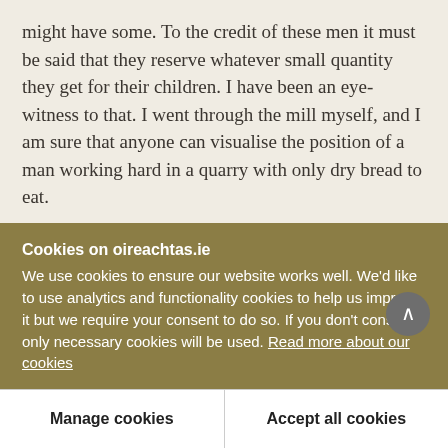might have some. To the credit of these men it must be said that they reserve whatever small quantity they get for their children. I have been an eye-witness to that. I went through the mill myself, and I am sure that anyone can visualise the position of a man working hard in a quarry with only dry bread to eat.
I am not now exaggerating the position; I would be the last man in the House to do that, for political purposes or otherwise. Definitely, that is the position
Cookies on oireachtas.ie
We use cookies to ensure our website works well. We'd like to use analytics and functionality cookies to help us improve it but we require your consent to do so. If you don't consent, only necessary cookies will be used. Read more about our cookies
Manage cookies
Accept all cookies